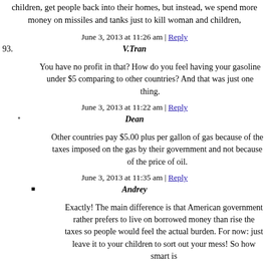children, get people back into their homes, but instead, we spend more money on missiles and tanks just to kill woman and children,
June 3, 2013 at 11:26 am | Reply
V.Tran
You have no profit in that? How do you feel having your gasoline under $5 comparing to other countries? And that was just one thing.
June 3, 2013 at 11:22 am | Reply
Dean
Other countries pay $5.00 plus per gallon of gas because of the taxes imposed on the gas by their government and not because of the price of oil.
June 3, 2013 at 11:35 am | Reply
Andrey
Exactly! The main difference is that American government rather prefers to live on borrowed money than rise the taxes so people would feel the actual burden. For now: just leave it to your children to sort out your mess! So how smart is